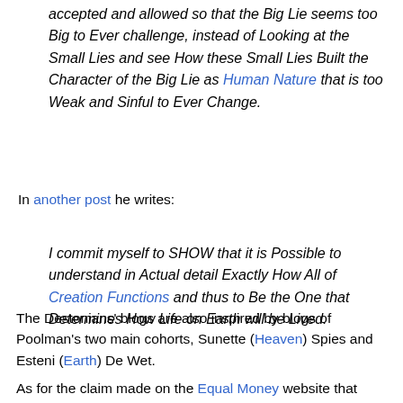accepted and allowed so that the Big Lie seems too Big to Ever challenge, instead of Looking at the Small Lies and see How these Small Lies Built the Character of the Big Lie as Human Nature that is too Weak and Sinful to Ever Change.
In another post he writes:
I commit myself to SHOW that it is Possible to understand in Actual detail Exactly How All of Creation Functions and thus to Be the One that Determines How Life on Earth will be Lived.
The Destonians' blogs are also inspired by blogs of Poolman's two main cohorts, Sunette (Heaven) Spies and Esteni (Earth) De Wet.
As for the claim made on the Equal Money website that